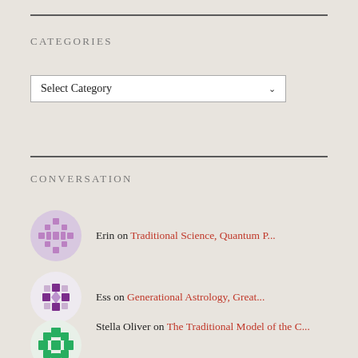CATEGORIES
Select Category
CONVERSATION
Erin on Traditional Science, Quantum P...
Ess on Generational Astrology, Great...
Stella Oliver on The Traditional Model of the C...